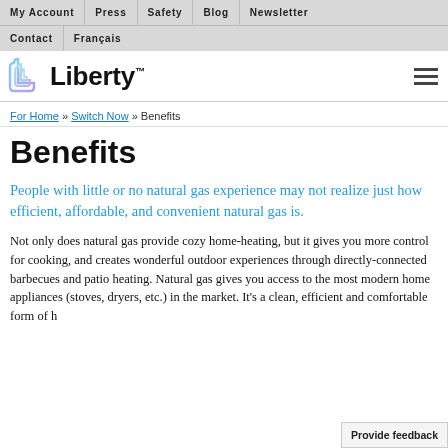My Account | Press | Safety | Blog | Newsletter | Contact | Français
[Figure (logo): Liberty logo with stylized heart mark and wordmark 'Liberty']
For Home » Switch Now » Benefits
Benefits
People with little or no natural gas experience may not realize just how efficient, affordable, and convenient natural gas is.
Not only does natural gas provide cozy home-heating, but it gives you more control for cooking, and creates wonderful outdoor experiences through directly-connected barbecues and patio heating. Natural gas gives you access to the most modern home appliances (stoves, dryers, etc.) in the market. It's a clean, efficient and comfortable form of h...